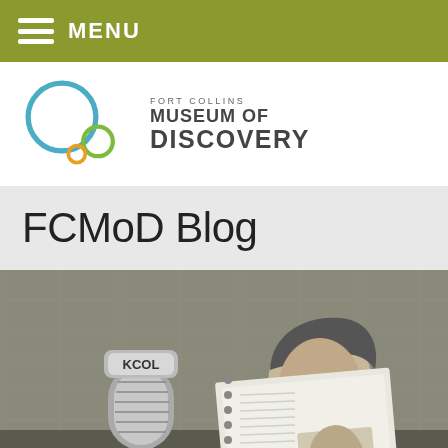MENU
[Figure (logo): Fort Collins Museum of Discovery logo with interlocking circles in blue, green, and orange]
FCMoD Blog
[Figure (photo): Black and white photograph of a person reading from a book or script in front of a KCOL radio station microphone]